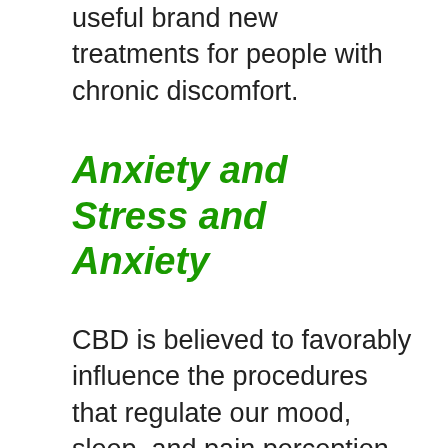useful brand new treatments for people with chronic discomfort.
Anxiety and Stress and Anxiety
CBD is believed to favorably influence the procedures that regulate our mood, sleep, and pain perception, to name a few. These processes require to work correctly, so we feel better, sleep more comfortably, and experience less pain. Anxiety and depression are conditions related to bad sleep, discomfort, and poor mood regulation due to